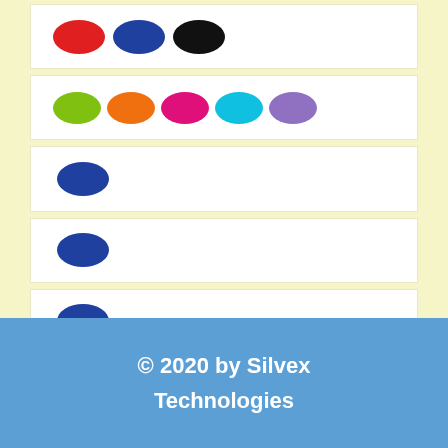[Figure (illustration): Row 1: three ellipses in red, blue, and black]
[Figure (illustration): Row 2: five ellipses in green, orange, hot pink, cyan, and purple]
[Figure (illustration): Row 3: single blue ellipse]
[Figure (illustration): Row 4: single blue ellipse]
[Figure (illustration): Row 5: single blue ellipse]
© 2020 by Silvex Technologies